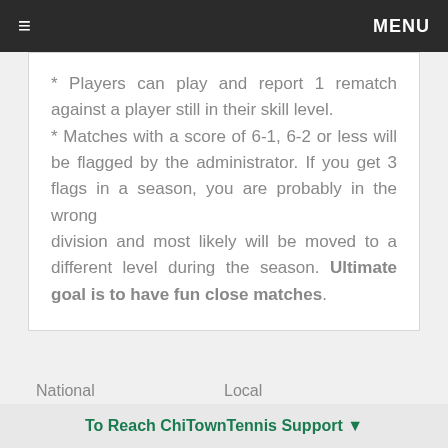≡  MENU
* Players can play and report 1 rematch against a player still in their skill level.
* Matches with a score of 6-1, 6-2 or less will be flagged by the administrator. If you get 3 flags in a season, you are probably in the wrong
division and most likely will be moved to a different level during the season. Ultimate goal is to have fun close matches.
National    Local
To Reach ChiTownTennis Support ▼